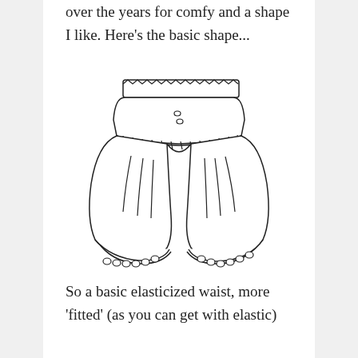over the years for comfy and a shape I like. Here's the basic shape...
[Figure (illustration): Line drawing of bloomers/harem pants with elasticized waistband at top showing zigzag elastic detail, two buttons on the yoke front, gathered fabric body with drape lines, and elasticized cuffs at the bottom of each leg with small loops/buttons.]
So a basic elasticized waist, more 'fitted' (as you can get with elastic)